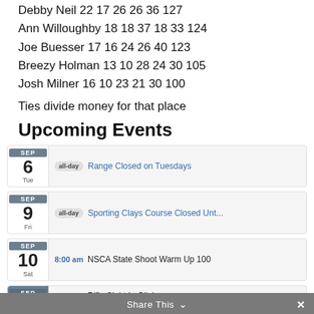Debby Neil 22 17 26 26 36 127
Ann Willoughby 18 18 37 18 33 124
Joe Buesser 17 16 24 26 40 123
Breezy Holman 13 10 28 24 30 105
Josh Milner 16 10 23 21 30 100
Ties divide money for that place
Upcoming Events
SEP 6 Tue | all-day Range Closed on Tuesdays
SEP 9 Fri | all-day Sporting Clays Course Closed Unt...
SEP 10 Sat | 8:00 am NSCA State Shoot Warm Up 100
SEP | 7:00 am Rifle Sight In Clinics
Share This  ✕